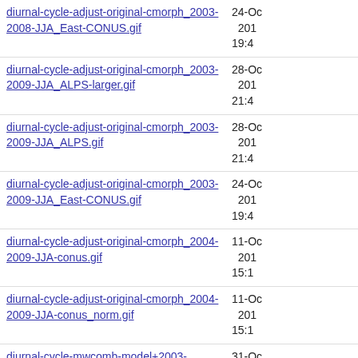diurnal-cycle-adjust-original-cmorph_2003-2008-JJA_East-CONUS.gif | 24-Oc 201 19:4
diurnal-cycle-adjust-original-cmorph_2003-2009-JJA_ALPS-larger.gif | 28-Oc 201 21:4
diurnal-cycle-adjust-original-cmorph_2003-2009-JJA_ALPS.gif | 28-Oc 201 21:4
diurnal-cycle-adjust-original-cmorph_2003-2009-JJA_East-CONUS.gif | 24-Oc 201 19:4
diurnal-cycle-adjust-original-cmorph_2004-2009-JJA-conus.gif | 11-Oc 201 15:1
diurnal-cycle-adjust-original-cmorph_2004-2009-JJA-conus_norm.gif | 11-Oc 201 15:1
diurnal-cycle-mwcomb-model+2003-cmorph_JJA-Alps.gif | 31-Oc 201 18:5
diurnal-cycle-mwcomb-model+StageIV_2006-2009-JJA-East-CONUS.gif | 24-Oc 201